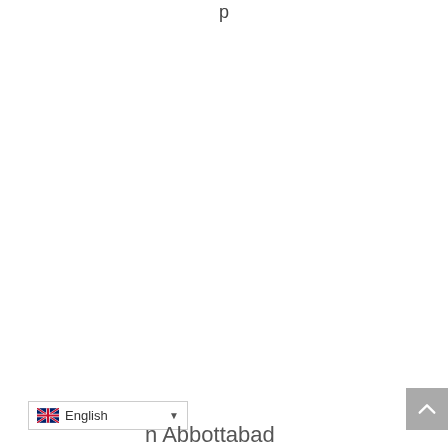p
[Figure (screenshot): Language selector dropdown showing English with UK flag, and a scroll-to-top button. Partial text 'n Abbottabad' visible at bottom.]
n Abbottabad